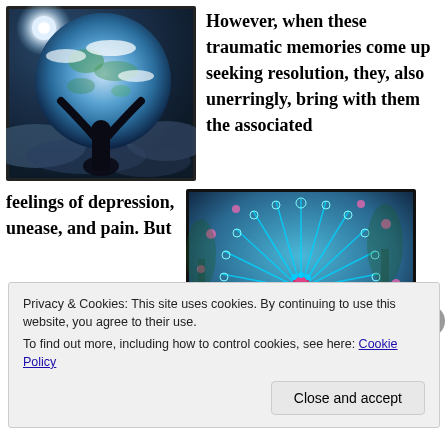[Figure (photo): Silhouette of a person with arms raised against a large Earth globe and dramatic cloudy sky, blue tone]
However, when these traumatic memories come up seeking resolution, they, also unerringly, bring with them the associated
feelings of depression, unease, and pain. But
[Figure (illustration): Colorful illustration of a peacock with vibrant blue and pink feathers, decorative art style]
Privacy & Cookies: This site uses cookies. By continuing to use this website, you agree to their use.
To find out more, including how to control cookies, see here: Cookie Policy
Close and accept